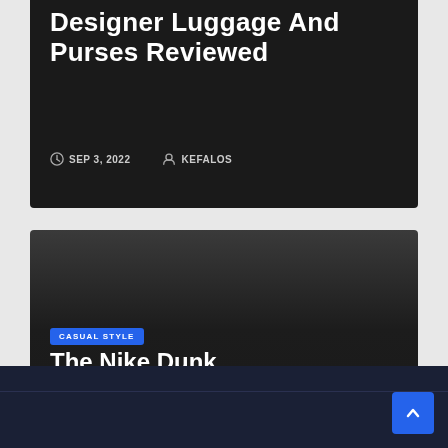Designer Luggage And Purses Reviewed
SEP 3, 2022  KEFALOS
[Figure (screenshot): Dark card banner for blog post about The Nike Dunk with CASUAL STYLE badge]
CASUAL STYLE
The Nike Dunk
SEP 2, 2022  KEFALOS